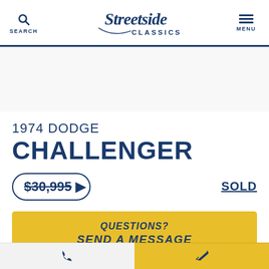SEARCH  [Streetside Classics logo]  MENU
[Figure (photo): Vehicle photo placeholder area (white/light gray background)]
1974 DODGE CHALLENGER
$30,995  SOLD
QUESTIONS? SEND A MESSAGE
[Phone icon button]  [Edit/message icon button]